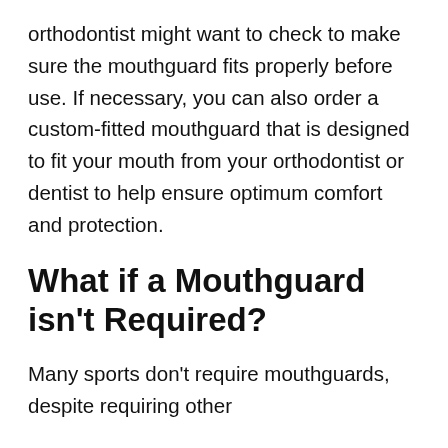orthodontist might want to check to make sure the mouthguard fits properly before use. If necessary, you can also order a custom-fitted mouthguard that is designed to fit your mouth from your orthodontist or dentist to help ensure optimum comfort and protection.
What if a Mouthguard isn't Required?
Many sports don't require mouthguards, despite requiring other